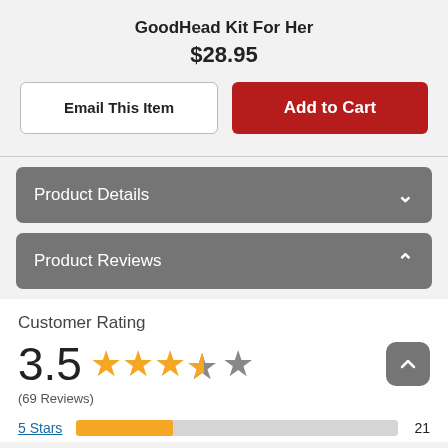GoodHead Kit For Her
$28.95
Email This Item
Add to Cart
Product Details
Product Reviews
Customer Rating
3.5 (69 Reviews)
5 Stars  21